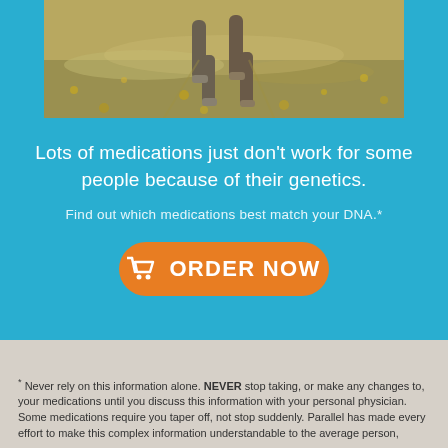[Figure (photo): Photo of two people walking on a path with autumn leaves on the ground, shown from waist down]
Lots of medications just don't work for some people because of their genetics.
Find out which medications best match your DNA.*
[Figure (other): Orange rounded button with shopping cart icon and text ORDER NOW]
* Never rely on this information alone. NEVER stop taking, or make any changes to, your medications until you discuss this information with your personal physician. Some medications require you taper off, not stop suddenly. Parallel has made every effort to make this complex information understandable to the average person,